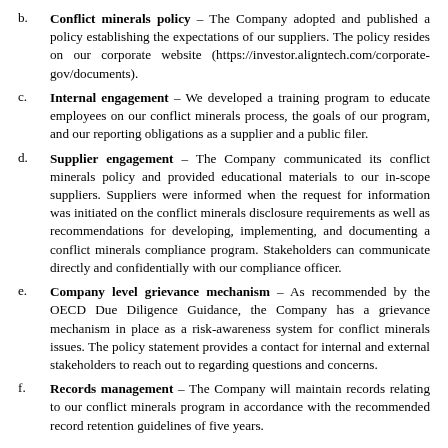b. Conflict minerals policy – The Company adopted and published a policy establishing the expectations of our suppliers. The policy resides on our corporate website (https://investor.aligntech.com/corporate-gov/documents).
c. Internal engagement – We developed a training program to educate employees on our conflict minerals process, the goals of our program, and our reporting obligations as a supplier and a public filer.
d. Supplier engagement – The Company communicated its conflict minerals policy and provided educational materials to our in-scope suppliers. Suppliers were informed when the request for information was initiated on the conflict minerals disclosure requirements as well as recommendations for developing, implementing, and documenting a conflict minerals compliance program. Stakeholders can communicate directly and confidentially with our compliance officer.
e. Company level grievance mechanism – As recommended by the OECD Due Diligence Guidance, the Company has a grievance mechanism in place as a risk-awareness system for conflict minerals issues. The policy statement provides a contact for internal and external stakeholders to reach out to regarding questions and concerns.
f. Records management – The Company will maintain records relating to our conflict minerals program in accordance with the recommended record retention guidelines of five years.